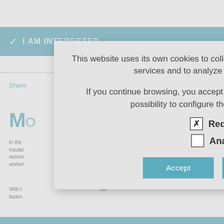[Figure (screenshot): Background website content showing a teal header bar with 'I AM INTERESTED' text, a dotted divider line, a 'Share' link, a Twitter icon, partial title text 'M(O)' in teal, body text about insulation system, a teal 'FEATURES' bar, and 'QUICK AND SAFE JOINING SYSTEM' text]
This website uses its own cookies to collect information in order to improve our services and to analyze your browsing habits.

If you continue browsing, you accept their installation. The user has the possibility to configure their preferences HERE.
Required (checked)
Analysis (unchecked)
Accept | Decline